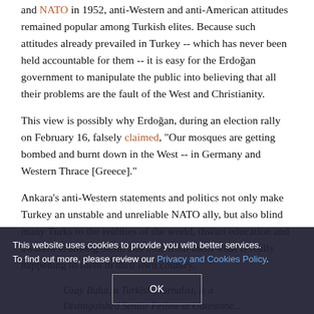and NATO in 1952, anti-Western and anti-American attitudes remained popular among Turkish elites. Because such attitudes already prevailed in Turkey -- which has never been held accountable for them -- it is easy for the Erdoğan government to manipulate the public into believing that all their problems are the fault of the West and Christianity.
This view is possibly why Erdoğan, during an election rally on February 16, falsely claimed, "Our mosques are getting bombed and burnt down in the West -- in Germany and Western Thrace [Greece]."
Ankara's anti-Western statements and politics not only make Turkey an unstable and unreliable NATO ally, but also blind many Turks to the realities of the world, thwart education and awareness among them, and hide from them what is really happening to them in their own country.
Uzay Bulut, a Turkish journalist, is a Distinguished Senior Fellow at Gatestone...
This website uses cookies to provide you with better services. To find out more, please review our Privacy and Cookies Policy.